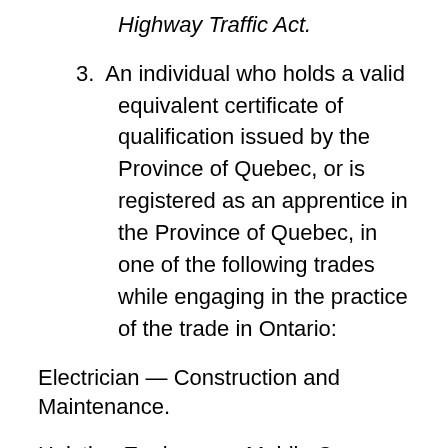Highway Traffic Act.
3. An individual who holds a valid equivalent certificate of qualification issued by the Province of Quebec, or is registered as an apprentice in the Province of Quebec, in one of the following trades while engaging in the practice of the trade in Ontario:
Electrician — Construction and Maintenance.
Hoisting Engineer — Mobile Crane Operator 1.
Plumber.
Refrigeration and Air Conditioning Systems Mechanic.